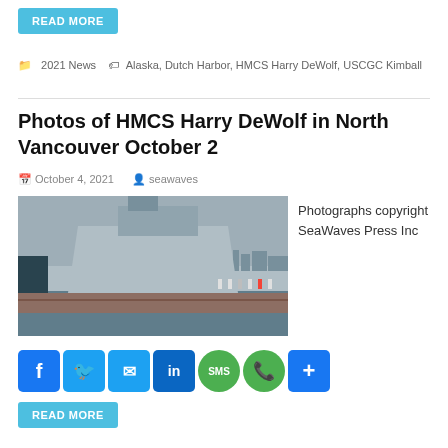READ MORE
2021 News   Alaska, Dutch Harbor, HMCS Harry DeWolf, USCGC Kimball
Photos of HMCS Harry DeWolf in North Vancouver October 2
October 4, 2021   seawaves
[Figure (photo): HMCS Harry DeWolf warship docked at North Vancouver pier with people walking on the dock, city skyline in background]
Photographs copyright SeaWaves Press Inc
READ MORE